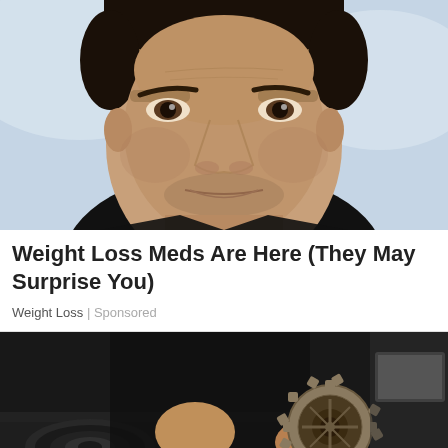[Figure (photo): Close-up portrait of a middle-aged man with dark hair, looking directly at camera, light blue/grey blurred background]
Weight Loss Meds Are Here (They May Surprise You)
Weight Loss | Sponsored
[Figure (photo): Person in black clothing working with mechanical gear/sprocket component near a gas stove in a kitchen setting]